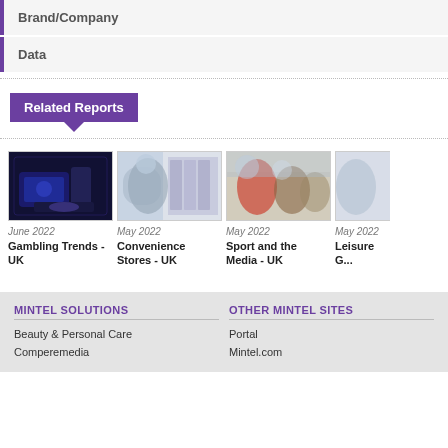Brand/Company
Data
Related Reports
[Figure (photo): Hands on a gambling/gaming machine with blue lighting]
June 2022
Gambling Trends - UK
[Figure (photo): Woman in headscarf shopping in a convenience store aisle]
May 2022
Convenience Stores - UK
[Figure (photo): People cheering watching sport, one in a red shirt]
May 2022
Sport and the Media - UK
[Figure (photo): Partially visible fourth report card]
May 2022
Leisure G...
MINTEL SOLUTIONS
Beauty & Personal Care
Comperemedia
OTHER MINTEL SITES
Portal
Mintel.com